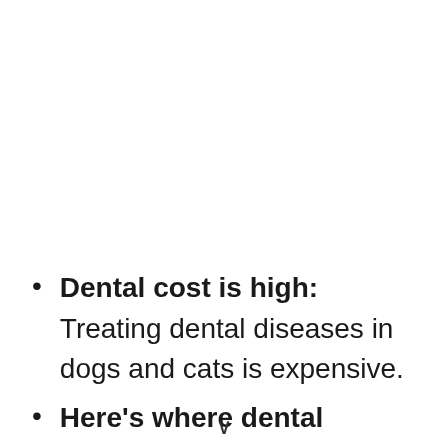Dental cost is high: Treating dental diseases in dogs and cats is expensive.
Here’s where dental